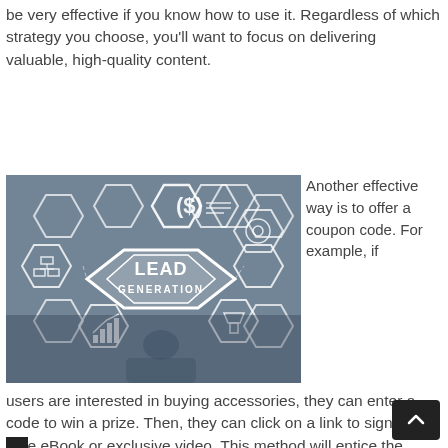be very effective if you know how to use it. Regardless of which strategy you choose, you'll want to focus on delivering valuable, high-quality content.
[Figure (photo): Lead Generation concept image: a person pointing at a hexagonal diagram with 'LEAD GENERATION' text in the center, surrounded by hexagonal icons representing various business concepts including money, charts, shopping, and filters.]
Another effective way is to offer a coupon code. For example, if users are interested in buying accessories, they can enter a code to win a prize. Then, they can click on a link to sign up for an eBook or exclusive video. This method will entice the us…